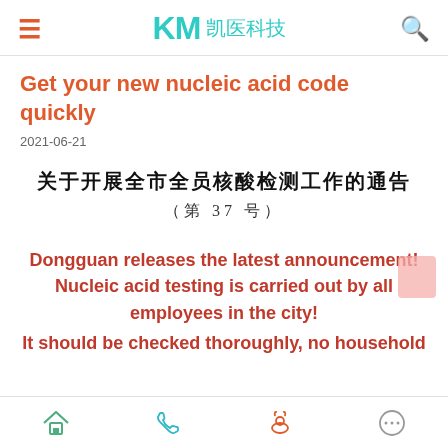KM 凯医科技
Get your new nucleic acid code quickly
2021-06-21
关于开展全市全员核酸检测工作的通告 （第 37 号）
Dongguan releases the latest announcement! Nucleic acid testing is carried out by all employees in the city! It should be checked thoroughly, no household
Home | Phone | Profile | More